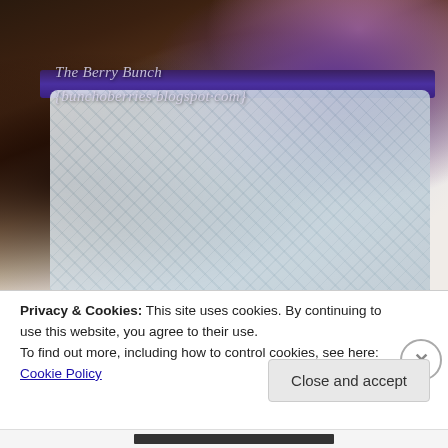[Figure (photo): A photo showing a child or person wearing a floral white and blue skirt/dress with a dark purple/navy waistband, standing near a wall. Watermark text overlaid reads 'The Berry Bunch {bunchoberries.blogspot.com}']
Privacy & Cookies: This site uses cookies. By continuing to use this website, you agree to their use.
To find out more, including how to control cookies, see here: Cookie Policy
Close and accept